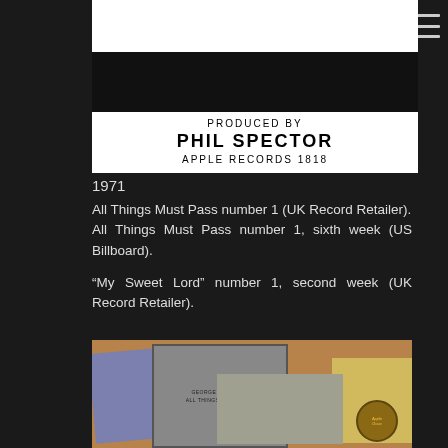[Figure (photo): Album inner sleeve credit area showing 'PRODUCED BY PHIL SPECTOR APPLE RECORDS 1818' in bold text on white background with partial photo at top]
1971
All Things Must Pass number 1 (UK Record Retailer).
All Things Must Pass number 1, sixth week (US Billboard).

“My Sweet Lord” number 1, second week (UK Record Retailer).
[Figure (photo): Photo of the George Harrison All Things Must Pass album cover displayed on a cork board with blue and yellow papers and an Apple Records label]